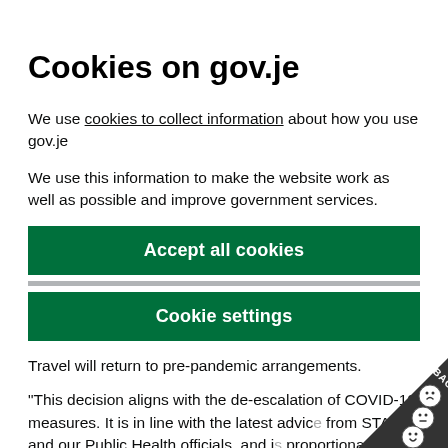Cookies on gov.je
We use cookies to collect information about how you use gov.je
We use this information to make the website work as well as possible and improve government services.
Accept all cookies
Cookie settings
Travel will return to pre-pandemic arrangements.
“This decision aligns with the de-escalation of COVID-19 measures. It is in line with the latest advice from STAC and our Public Health officials, and is proportionate to the much lower levels of risk